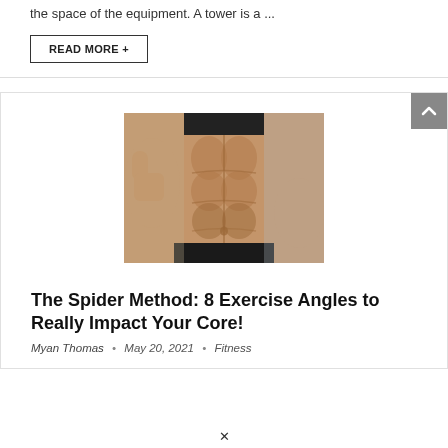the space of the equipment. A tower is a ...
READ MORE +
[Figure (photo): Close-up photo of a fit person's toned abs/core with a thumbs up gesture, wearing black sportswear]
The Spider Method: 8 Exercise Angles to Really Impact Your Core!
Myan Thomas • May 20, 2021 • Fitness